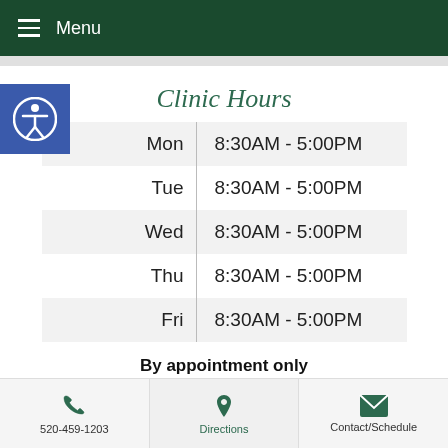Menu
Clinic Hours
| Day | Hours |
| --- | --- |
| Mon | 8:30AM - 5:00PM |
| Tue | 8:30AM - 5:00PM |
| Wed | 8:30AM - 5:00PM |
| Thu | 8:30AM - 5:00PM |
| Fri | 8:30AM - 5:00PM |
By appointment only
Exceptions made for emergencies and on a
520-459-1203 | Directions | Contact/Schedule